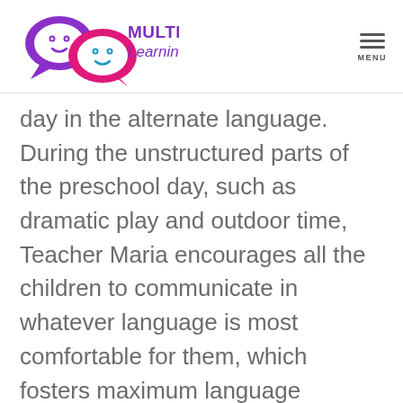[Figure (logo): Multilingual Learning Toolkit logo with two speech bubble faces (one purple, one pink) and the text MULTILINGUAL Learning Toolkit in purple and teal]
day in the alternate language. During the unstructured parts of the preschool day, such as dramatic play and outdoor time, Teacher Maria encourages all the children to communicate in whatever language is most comfortable for them, which fosters maximum language interactions and meaningful participation of all children.

During the summer, Teacher Maria